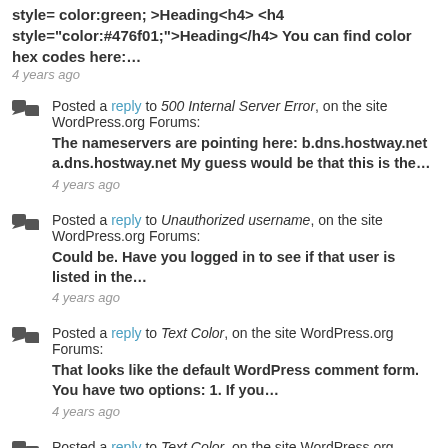style= color:green; >Heading<h4> <h4 style="color:#476f01;">Heading</h4> You can find color hex codes here:…
4 years ago
Posted a reply to 500 Internal Server Error, on the site WordPress.org Forums:
The nameservers are pointing here: b.dns.hostway.net a.dns.hostway.net My guess would be that this is the…
4 years ago
Posted a reply to Unauthorized username, on the site WordPress.org Forums:
Could be. Have you logged in to see if that user is listed in the…
4 years ago
Posted a reply to Text Color, on the site WordPress.org Forums:
That looks like the default WordPress comment form. You have two options: 1. If you…
4 years ago
Posted a reply to Text Color, on the site WordPress.org